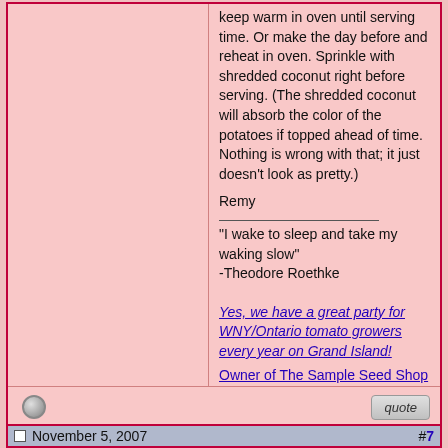keep warm in oven until serving time. Or make the day before and reheat in oven. Sprinkle with shredded coconut right before serving. (The shredded coconut will absorb the color of the potatoes if topped ahead of time. Nothing is wrong with that; it just doesn't look as pretty.)

Remy

"I wake to sleep and take my waking slow"
-Theodore Roethke
Yes, we have a great party for WNY/Ontario tomato growers every year on Grand Island!
Owner of The Sample Seed Shop
November 5, 2007  #7